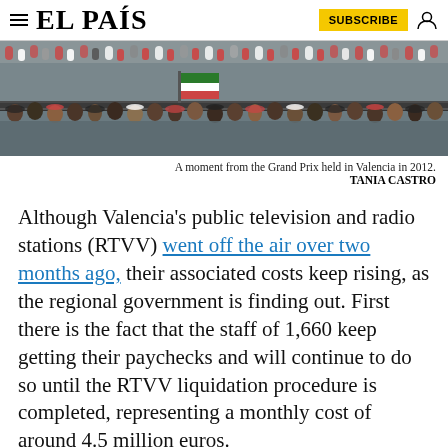EL PAÍS
[Figure (photo): Crowd of spectators at the Formula 1 Grand Prix held in Valencia in 2012, viewed from behind along a railing with a flag visible.]
A moment from the Grand Prix held in Valencia in 2012.
TANIA CASTRO
Although Valencia's public television and radio stations (RTVV) went off the air over two months ago, their associated costs keep rising, as the regional government is finding out. First there is the fact that the staff of 1,660 keep getting their paychecks and will continue to do so until the RTVV liquidation procedure is completed, representing a monthly cost of around 4.5 million euros.